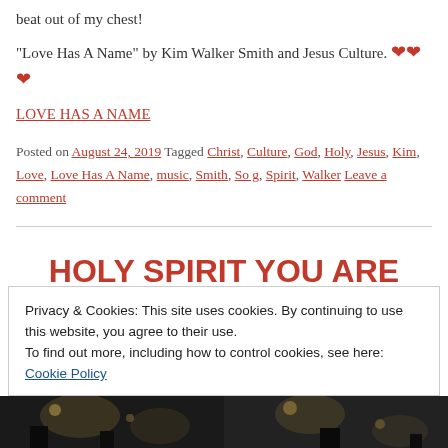beat out of my chest!
"Love Has A Name" by Kim Walker Smith and Jesus Culture. ❤❤❤
LOVE HAS A NAME
Posted on August 24, 2019 Tagged Christ, Culture, God, Holy, Jesus, Kim, Love, Love Has A Name, music, Smith, So g, Spirit, Walker Leave a comment
HOLY SPIRIT YOU ARE WELCOME HERE!
i LOVE THIS SONG! Not only that but...
Privacy & Cookies: This site uses cookies. By continuing to use this website, you agree to their use.
To find out more, including how to control cookies, see here: Cookie Policy
Close and accept